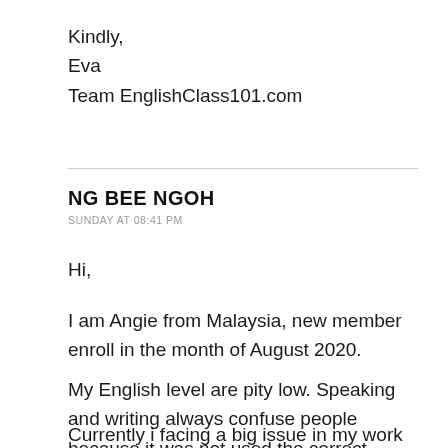Kindly,
Eva
Team EnglishClass101.com
NG BEE NGOH
SUNDAY AT 08:41 PM
Hi,
I am Angie from Malaysia, new member enroll in the month of August 2020.
My English level are pity low. Speaking and writing always confuse people because it was not used the correct grammar.
Currently i facing a big issue in my work during this